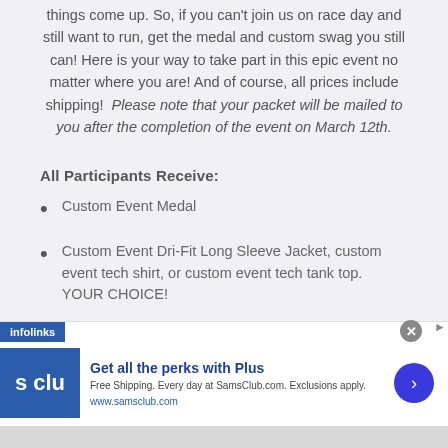things come up. So, if you can't join us on race day and still want to run, get the medal and custom swag you still can! Here is your way to take part in this epic event no matter where you are! And of course, all prices include shipping!  Please note that your packet will be mailed to you after the completion of the event on March 12th.
All Participants Receive:
Custom Event Medal
Custom Event Dri-Fit Long Sleeve Jacket, custom event tech shirt, or custom event tech tank top.  YOUR CHOICE!
[Figure (other): Advertisement banner for Sam's Club: 'Get all the perks with Plus'. Free Shipping. Every day at SamsClub.com. Exclusions apply. www.samsclub.com. Features infolinks label, Sam's Club logo, and a blue arrow button.]